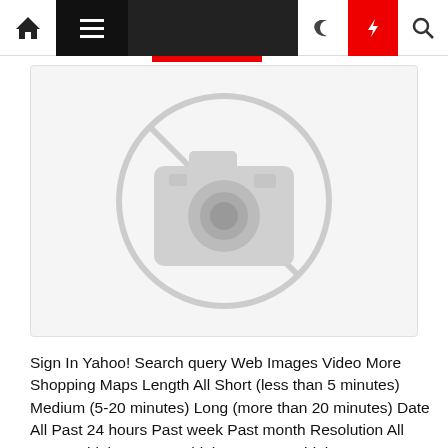[Figure (screenshot): Website navigation bar with home icon, hamburger menu (black background), search bar (dark background), moon icon, lightning bolt icon (red background), and search icon]
[Figure (photo): Blurred placeholder image with a camera icon in a circle with a diagonal line through it, indicating no image available]
Sign In Yahoo! Search query Web Images Video More Shopping Maps Length All Short (less than 5 minutes) Medium (5-20 minutes) Long (more than 20 minutes) Date All Past 24 hours Past week Past month Resolution All 480p or higher 720p or higher 1080p or higher SafeSearch SafeSearch on